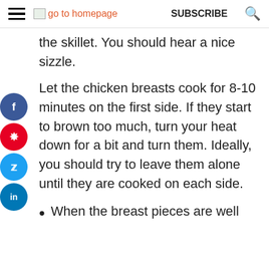go to homepage  SUBSCRIBE  🔍
the skillet. You should hear a nice sizzle.
Let the chicken breasts cook for 8-10 minutes on the first side. If they start to brown too much, turn your heat down for a bit and turn them. Ideally, you should try to leave them alone until they are cooked on each side.
When the breast pieces are well